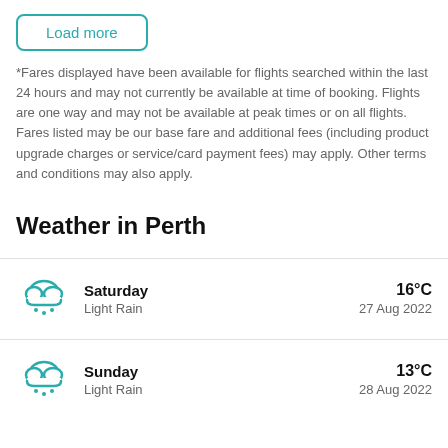Load more
*Fares displayed have been available for flights searched within the last 24 hours and may not currently be available at time of booking. Flights are one way and may not be available at peak times or on all flights. Fares listed may be our base fare and additional fees (including product upgrade charges or service/card payment fees) may apply. Other terms and conditions may also apply.
Weather in Perth
| Icon | Day | Description | Temperature | Date |
| --- | --- | --- | --- | --- |
| [rain cloud icon] | Saturday | Light Rain | 16°C | 27 Aug 2022 |
| [rain cloud icon] | Sunday | Light Rain | 13°C | 28 Aug 2022 |